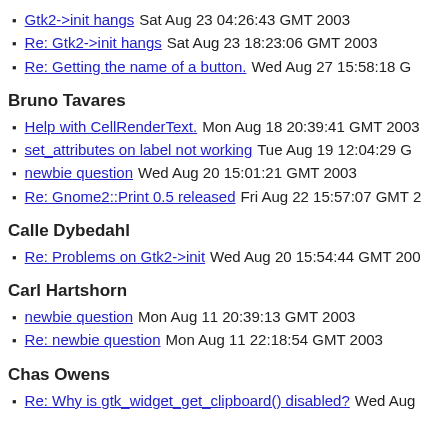Gtk2->init hangs Sat Aug 23 04:26:43 GMT 2003
Re: Gtk2->init hangs Sat Aug 23 18:23:06 GMT 2003
Re: Getting the name of a button. Wed Aug 27 15:58:18 G
Bruno Tavares
Help with CellRenderText. Mon Aug 18 20:39:41 GMT 2003
set_attributes on label not working Tue Aug 19 12:04:29 G
newbie question Wed Aug 20 15:01:21 GMT 2003
Re: Gnome2::Print 0.5 released Fri Aug 22 15:57:07 GMT 2
Calle Dybedahl
Re: Problems on Gtk2->init Wed Aug 20 15:54:44 GMT 200
Carl Hartshorn
newbie question Mon Aug 11 20:39:13 GMT 2003
Re: newbie question Mon Aug 11 22:18:54 GMT 2003
Chas Owens
Re: Why is gtk_widget_get_clipboard() disabled? Wed Aug